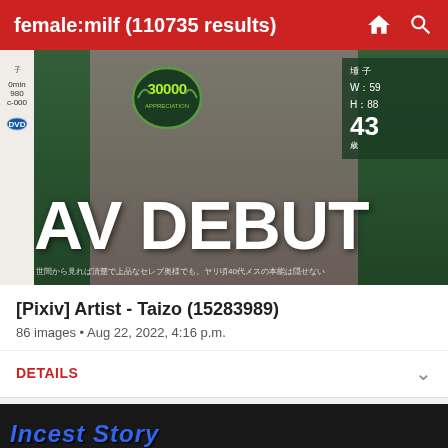female:milf (110735 results)
[Figure (photo): Anime/manga style AV DEBUT cover image with Japanese text, 30000 badge, and statistics showing W:59 H:88 age 43]
[Pixiv] Artist - Taizo (15283989)
86 images • Aug 22, 2022, 4:16 p.m.
DETAILS
[Figure (screenshot): Incest Story banner image with blue styled text on dark background]
[Figure (photo): Adult thumbnail image]
Live Sexy Models 🔥
She will make the first move
Flirt4Free